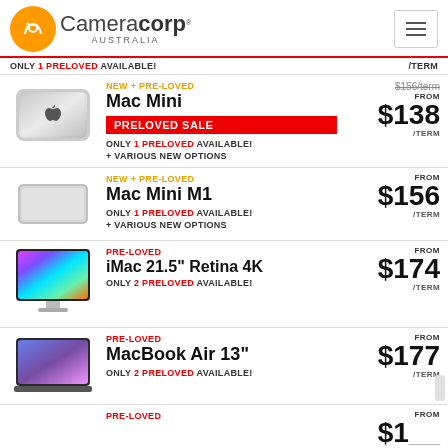[Figure (logo): Cameracorp Australia logo with orange circle and hamburger menu]
ONLY 1 PRELOVED AVAILABLE! /TERM
NEW + PRE-LOVED
Mac Mini
PRELOVED SALE
ONLY 1 PRELOVED AVAILABLE!
+ VARIOUS NEW OPTIONS
FROM $138 /TERM (was $156/term)
NEW + PRE-LOVED
Mac Mini M1
ONLY 1 PRELOVED AVAILABLE!
+ VARIOUS NEW OPTIONS
FROM $156 /TERM
PRE-LOVED
iMac 21.5" Retina 4K
ONLY 2 PRELOVED AVAILABLE!
FROM $174 /TERM
PRE-LOVED
MacBook Air 13"
ONLY 2 PRELOVED AVAILABLE!
FROM $177 /TERM
PRE-LOVED
FROM $1...